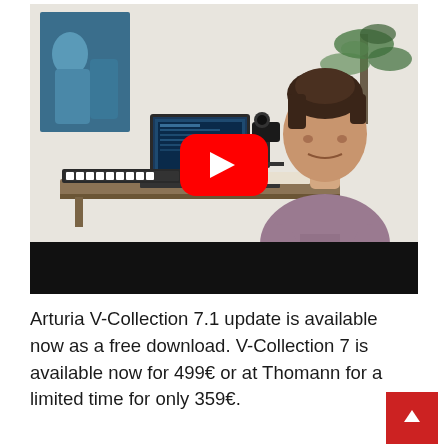[Figure (screenshot): Video thumbnail showing a man sitting in a music studio with a laptop, MIDI controller, and camera equipment. A YouTube play button overlay is visible in the center. The lower portion has a dark/black bar. A painting is visible on the wall in the background.]
Arturia V-Collection 7.1 update is available now as a free download. V-Collection 7 is available now for 499€ or at Thomann for a limited time for only 359€.